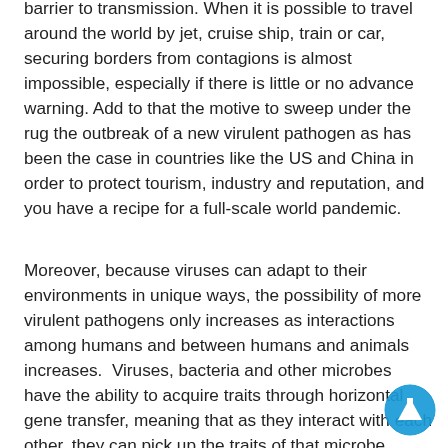barrier to transmission. When it is possible to travel around the world by jet, cruise ship, train or car, securing borders from contagions is almost impossible, especially if there is little or no advance warning. Add to that the motive to sweep under the rug the outbreak of a new virulent pathogen as has been the case in countries like the US and China in order to protect tourism, industry and reputation, and you have a recipe for a full-scale world pandemic.
Moreover, because viruses can adapt to their environments in unique ways, the possibility of more virulent pathogens only increases as interactions among humans and between humans and animals increases.  Viruses, bacteria and other microbes have the ability to acquire traits through horizontal gene transfer, meaning that as they interact with each other, they can pick up the traits of that microbe simply from that interaction